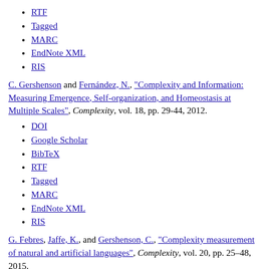RTF
Tagged
MARC
EndNote XML
RIS
C. Gershenson and Fernández, N., "Complexity and Information: Measuring Emergence, Self-organization, and Homeostasis at Multiple Scales", Complexity, vol. 18, pp. 29-44, 2012.
DOI
Google Scholar
BibTeX
RTF
Tagged
MARC
EndNote XML
RIS
G. Febres, Jaffe, K., and Gershenson, C., "Complexity measurement of natural and artificial languages", Complexity, vol. 20, pp. 25–48, 2015.
DOI
Google Scholar